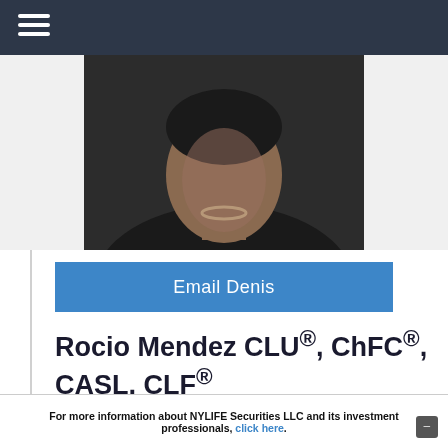[Figure (photo): Professional headshot photo of Rocio Mendez, a woman wearing a dark jacket and pearl necklace, partially cropped at the bottom of the image area]
Email Denis
Rocio Mendez CLU®, ChFC®, CASL, CLF®
Senior Sales Development Manager
Rocio joined New York Life as an agent in 2007 after eight years of experience as a Store Manager for two major Department Stores. During her career as a New York Life agent
For more information about NYLIFE Securities LLC and its investment professionals, click here.